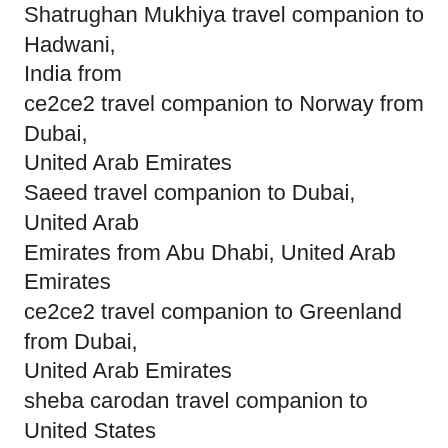Shatrughan Mukhiya travel companion to Hadwani, India from
ce2ce2 travel companion to Norway from Dubai, United Arab Emirates
Saeed travel companion to Dubai, United Arab Emirates from Abu Dhabi, United Arab Emirates
ce2ce2 travel companion to Greenland from Dubai, United Arab Emirates
sheba carodan travel companion to United States from Abu Dhabi, United Arab Emirates
ce2ce2 travel companion to Australia from Dubai, United Arab Emirates
Dannie Love travel companion to Usa, Japan from Bangkok, Thailand
Dannie Love travel companion to Usa, Japan from Bangkok, Thailand
Jangotango Jango travel companion to India from Hyderabad, India
bero travel companion to Ukraine from Beirut, Lebanon